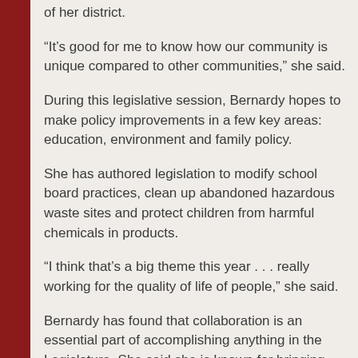of her district.
“It’s good for me to know how our community is unique compared to other communities,” she said.
During this legislative session, Bernardy hopes to make policy improvements in a few key areas: education, environment and family policy.
She has authored legislation to modify school board practices, clean up abandoned hazardous waste sites and protect children from harmful chemicals in products.
“I think that’s a big theme this year . . . really working for the quality of life of people,” she said.
Bernardy has found that collaboration is an essential part of accomplishing anything in the Legislature. She said she is known for bringing people together.
“I have been surprised how well I’ve been able to